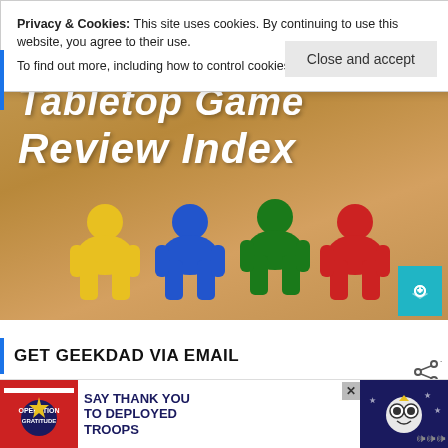[Figure (screenshot): Cookie/privacy notice banner overlay on a webpage. White box with text: 'Privacy & Cookies: This site uses cookies. By continuing to use this website, you agree to their use. To find out more, including how to control cookies, see here: Cookie Policy'. A 'Close and accept' button is in the lower right of the banner.]
[Figure (photo): Hero banner image with warm wooden background, large white bold text reading 'Tabletop Game Review Index', and four wooden meeple game pieces in yellow, blue, green, and red colors arranged in a row.]
GET GEEKDAD VIA EMAIL
Enter your email address to subscribe to this blog and receive notifi...
[Figure (screenshot): Advertisement banner at the bottom: 'SAY THANK YOU TO DEPLOYED TROOPS' with Operation Gratitude logo and patriotic imagery.]